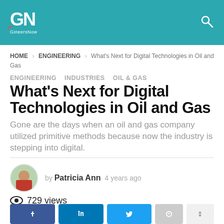GineersNow
HOME > ENGINEERING > What's Next for Digital Technologies in Oil and Gas
ENGINEERING  INDUSTRIES  OIL & GAS
What's Next for Digital Technologies in Oil and Gas
Gone are the days when an oil and gas company utilized primitive methods because now the industry is stepping into digital.
by Patricia Ann  4 years ago
729 views